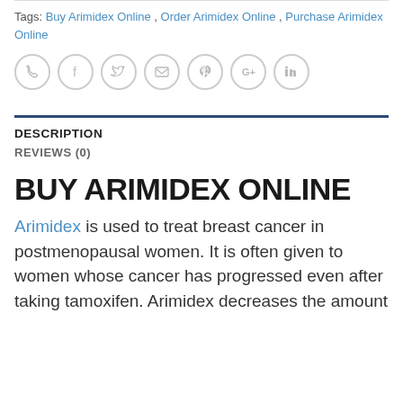Tags: Buy Arimidex Online , Order Arimidex Online , Purchase Arimidex Online
[Figure (other): Row of seven circular social sharing icons: phone, Facebook, Twitter, email, Pinterest, Google+, LinkedIn]
DESCRIPTION
REVIEWS (0)
BUY ARIMIDEX ONLINE
Arimidex is used to treat breast cancer in postmenopausal women. It is often given to women whose cancer has progressed even after taking tamoxifen. Arimidex decreases the amount